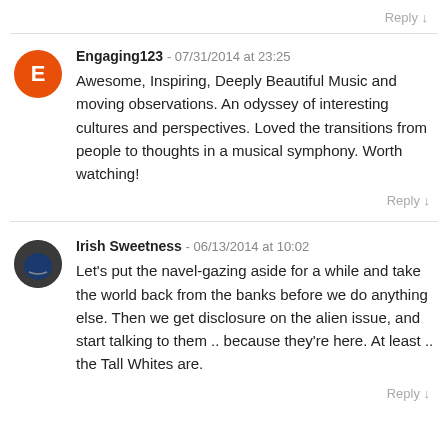Reply ↲
Engaging123 - 07/31/2014 at 23:25
Awesome, Inspiring, Deeply Beautiful Music and moving observations. An odyssey of interesting cultures and perspectives. Loved the transitions from people to thoughts in a musical symphony. Worth watching!
Reply ↲
Irish Sweetness - 06/13/2014 at 10:02
Let's put the navel-gazing aside for a while and take the world back from the banks before we do anything else. Then we get disclosure on the alien issue, and start talking to them .. because they're here. At least .. the Tall Whites are.
Reply ↲